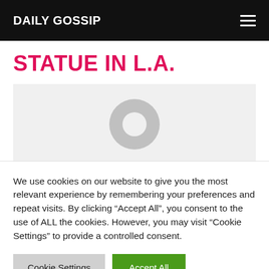DAILY GOSSIP
STATUE IN L.A.
[Figure (photo): Placeholder image with a grey avatar/profile silhouette icon on a light grey background]
We use cookies on our website to give you the most relevant experience by remembering your preferences and repeat visits. By clicking “Accept All”, you consent to the use of ALL the cookies. However, you may visit "Cookie Settings" to provide a controlled consent.
Cookie Settings | Accept All